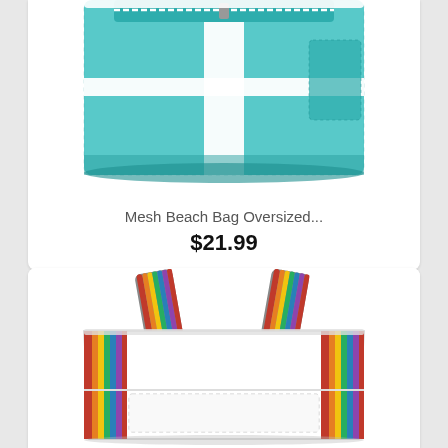[Figure (photo): Teal/turquoise mesh beach bag with white zipper and white cross strap detail, partially cropped at top]
Mesh Beach Bag Oversized...
$21.99
[Figure (photo): White large mesh tote beach bag with rainbow/multicolor striped handles (orange, yellow, green, red stripes), white body with mesh pocket detail]